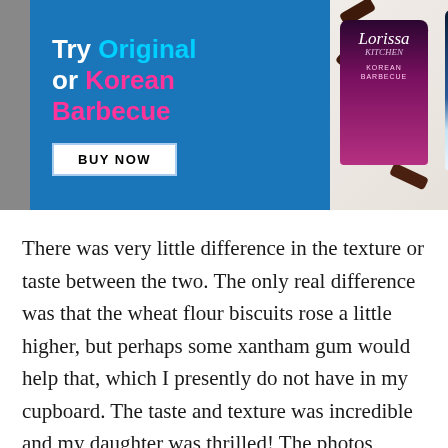[Figure (screenshot): Advertisement banner for Lorissa's Kitchen beef jerky products. Blue background on left with text 'Try Original or Korean Barbecue' and a 'BUY NOW' button. Product packaging photos on the right showing pink and blue packages with beef jerky pieces.]
There was very little difference in the texture or taste between the two. The only real difference was that the wheat flour biscuits rose a little higher, but perhaps some xantham gum would help that, which I presently do not have in my cupboard. The taste and texture was incredible and my daughter was thrilled! The photos above are of the wheat biscuits.
Here are photos of the gluten free biscuits: